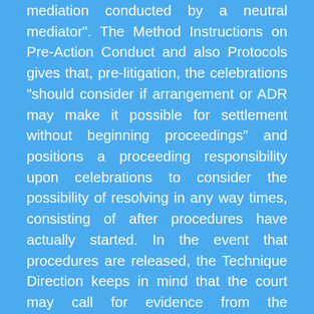mediation conducted by a neutral mediator". The Method Instructions on Pre-Action Conduct and also Protocols gives that, pre-litigation, the celebrations "should consider if arrangement or ADR may make it possible for settlement without beginning proceedings" and positions a proceeding responsibility upon celebrations to consider the possibility of resolving in any way times, consisting of after procedures have actually started. In the event that procedures are released, the Technique Direction keeps in mind that the court may call for evidence from the celebrations that ADR was thought about, and that silence in reaction to an invitation to participate or a refusal to take part in ADR might be considered unreasonable and also might lead to the court ordering the failing party to pay extra court